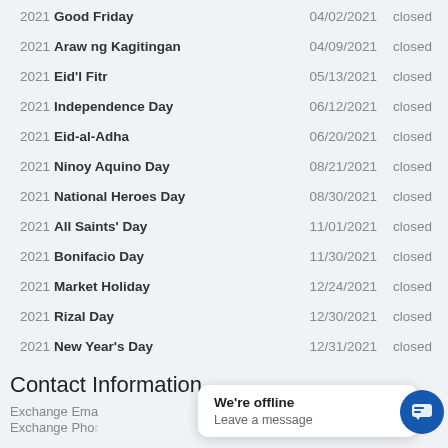2021 Good Friday 04/02/2021 closed
2021 Araw ng Kagitingan 04/09/2021 closed
2021 Eid'l Fitr 05/13/2021 closed
2021 Independence Day 06/12/2021 closed
2021 Eid-al-Adha 06/20/2021 closed
2021 Ninoy Aquino Day 08/21/2021 closed
2021 National Heroes Day 08/30/2021 closed
2021 All Saints' Day 11/01/2021 closed
2021 Bonifacio Day 11/30/2021 closed
2021 Market Holiday 12/24/2021 closed
2021 Rizal Day 12/30/2021 closed
2021 New Year's Day 12/31/2021 closed
Contact Information
Exchange Ema
Exchange Pho